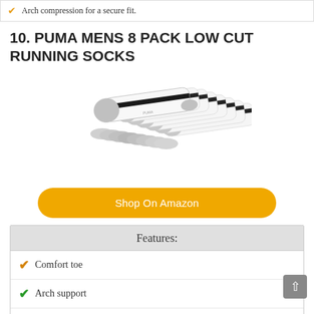Arch compression for a secure fit.
10. PUMA MENS 8 PACK LOW CUT RUNNING SOCKS
[Figure (photo): Stack of 8 white Puma low cut running socks with black stripe and grey heel/toe area, fanned out]
Shop On Amazon
Features:
Comfort toe
Arch support
Cushioned sole for durability